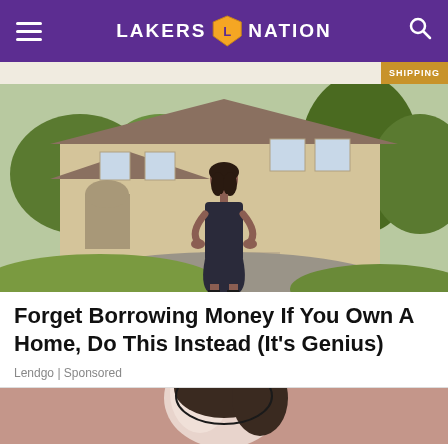LAKERS NATION
[Figure (photo): Woman in navy dress standing in front of a large luxury house with green trees and a driveway, sunny day]
Forget Borrowing Money If You Own A Home, Do This Instead (It's Genius)
Lendgo | Sponsored
[Figure (illustration): Partially visible cartoon/illustration on a mauve/dusty rose background, bottom of page]